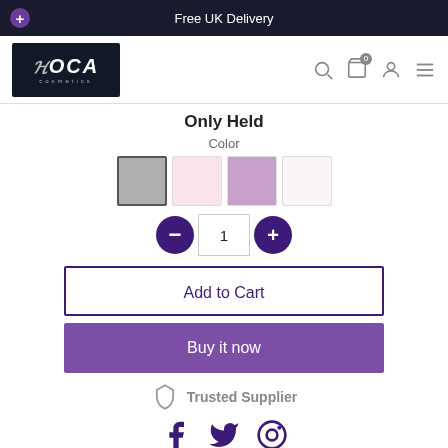Free UK Delivery
[Figure (logo): Roca Cosmetics logo — white italic text on dark background]
Only Held
Color
[Figure (other): Four color swatches: grey (selected), light pink, lilac/mauve, white]
[Figure (other): Quantity selector: minus button, input showing 1, plus button]
Add to Cart
Buy it now
Trusted Supplier
[Figure (other): Social media icons: Facebook, Twitter, Pinterest]